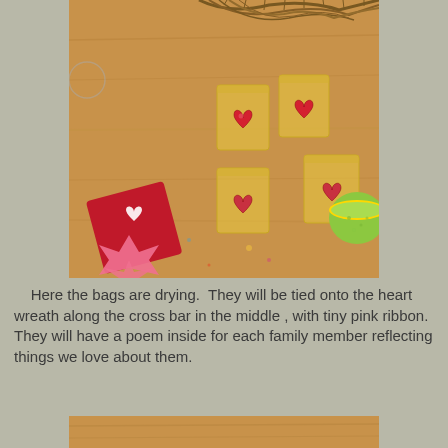[Figure (photo): Overhead view of small gold organza gift bags with felted heart decorations on a wooden surface, along with red and pink felt pieces cut into heart and crown shapes, and a green container, with dried twigs in the background.]
Here the bags are drying.  They will be tied onto the heart wreath along the cross bar in the middle , with tiny pink ribbon. They will have a poem inside for each family member reflecting things we love about them.
[Figure (photo): Partial view of another craft photo at the bottom of the page, cropped.]